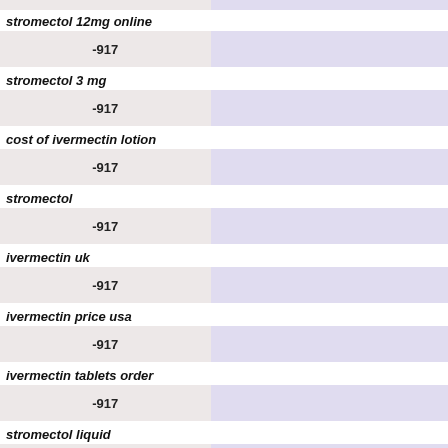[Figure (bar-chart): Keyword search data]